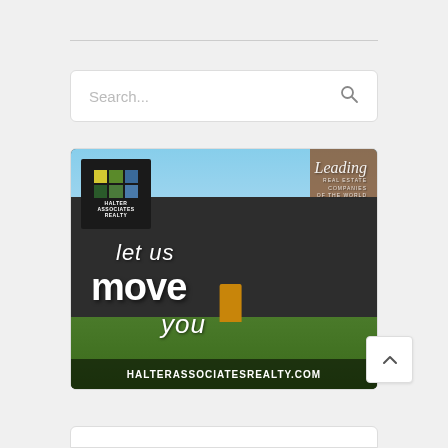[Figure (screenshot): Webpage screenshot showing a search bar and a Halter Associates Realty advertisement image. The ad shows a dark modern house with the text 'let us move you' and website URL 'HALTERASSOCIATESREALTY.COM'. A Halter Associates Realty logo is in the top left of the ad, and a 'Leading Real Estate Companies of the World' badge is in the top right.]